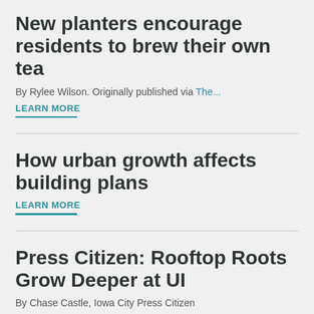New planters encourage residents to brew their own tea
By Rylee Wilson. Originally published via The...
LEARN MORE
How urban growth affects building plans
LEARN MORE
Press Citizen: Rooftop Roots Grow Deeper at UI
By Chase Castle, Iowa City Press Citizen
The University of Iowa College of Engineering just got a little bit greener.